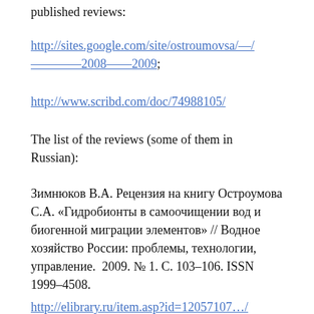published reviews:
http://sites.google.com/site/ostroumovsa/—/————2008——2009;
http://www.scribd.com/doc/74988105/
The list of the reviews (some of them in Russian):
Зимнюков В.А. Рецензия на книгу Остроумова С.А. «Гидробионты в самоочищении вод и биогенной миграции элементов» // Водное  хозяйство России: проблемы, технологии, управление.  2009. № 1. С. 103–106. ISSN 1999–4508.
http://elibrary.ru/item.asp?id=12057107…/